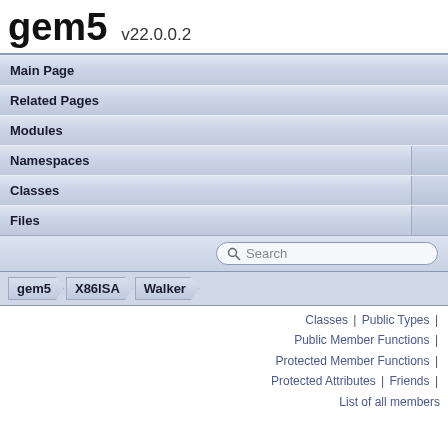gem5 v22.0.0.2
Main Page
Related Pages
Modules
Namespaces
Classes
Files
Search
gem5 > X86ISA > Walker
Classes | Public Types | Public Member Functions | Protected Member Functions | Protected Attributes | Friends | List of all members